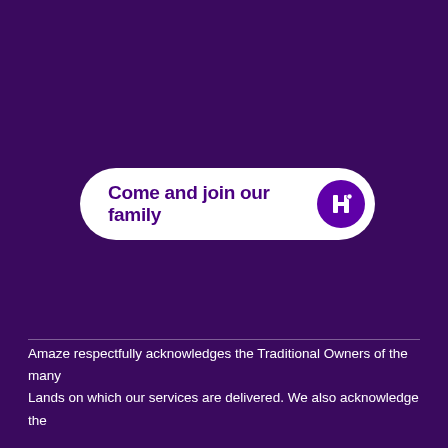[Figure (infographic): White pill-shaped button with text 'Come and join our family' and a purple circular icon containing a puzzle piece / H logo on a dark purple background]
Amaze respectfully acknowledges the Traditional Owners of the many Lands on which our services are delivered. We also acknowledge the